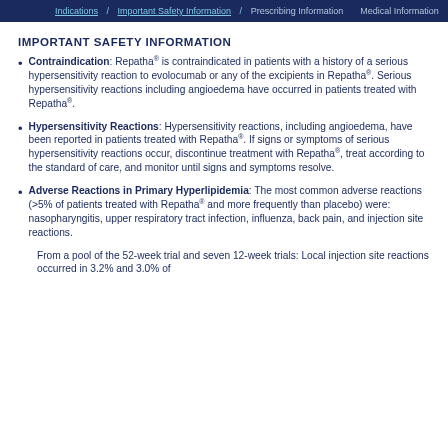Indications | Important Safety Information | Prescribing Information | Medical Information
IMPORTANT SAFETY INFORMATION
Contraindication: Repatha® is contraindicated in patients with a history of a serious hypersensitivity reaction to evolocumab or any of the excipients in Repatha®. Serious hypersensitivity reactions including angioedema have occurred in patients treated with Repatha®.
Hypersensitivity Reactions: Hypersensitivity reactions, including angioedema, have been reported in patients treated with Repatha®. If signs or symptoms of serious hypersensitivity reactions occur, discontinue treatment with Repatha®, treat according to the standard of care, and monitor until signs and symptoms resolve.
Adverse Reactions in Primary Hyperlipidemia: The most common adverse reactions (>5% of patients treated with Repatha® and more frequently than placebo) were: nasopharyngitis, upper respiratory tract infection, influenza, back pain, and injection site reactions.
From a pool of the 52-week trial and seven 12-week trials: Local injection site reactions occurred in 3.2% and 3.0% of